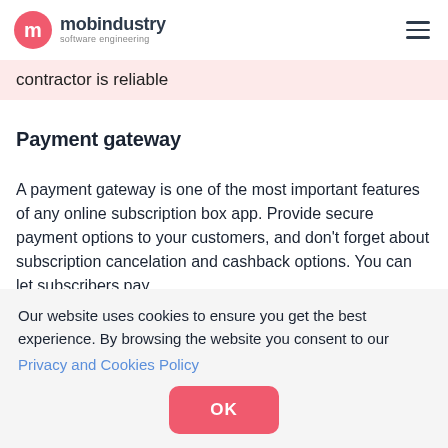mobindustry software engineering
contractor is reliable
Payment gateway
A payment gateway is one of the most important features of any online subscription box app. Provide secure payment options to your customers, and don't forget about subscription cancelation and cashback options. You can let subscribers pay
Our website uses cookies to ensure you get the best experience. By browsing the website you consent to our Privacy and Cookies Policy
OK